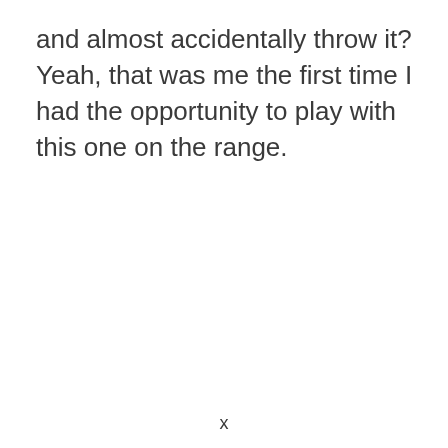and almost accidentally throw it? Yeah, that was me the first time I had the opportunity to play with this one on the range.
x